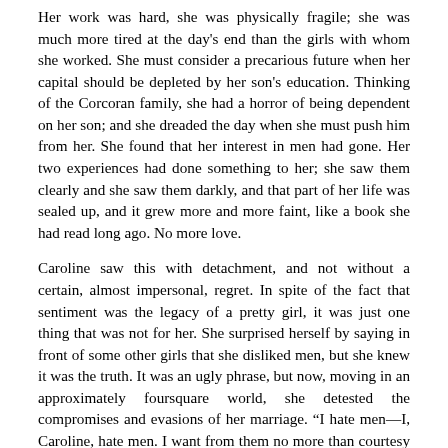Her work was hard, she was physically fragile; she was much more tired at the day's end than the girls with whom she worked. She must consider a precarious future when her capital should be depleted by her son's education. Thinking of the Corcoran family, she had a horror of being dependent on her son; and she dreaded the day when she must push him from her. She found that her interest in men had gone. Her two experiences had done something to her; she saw them clearly and she saw them darkly, and that part of her life was sealed up, and it grew more and more faint, like a book she had read long ago. No more love.
Caroline saw this with detachment, and not without a certain, almost impersonal, regret. In spite of the fact that sentiment was the legacy of a pretty girl, it was just one thing that was not for her. She surprised herself by saying in front of some other girls that she disliked men, but she knew it was the truth. It was an ugly phrase, but now, moving in an approximately foursquare world, she detested the compromises and evasions of her marriage. “I hate men—I, Caroline, hate men. I want from them no more than courtesy and to be left alone. My life is incomplete, then, but so be it. For others it is complete, for me it is incomplete.”
The day that she looked at her evening dress in the mirror